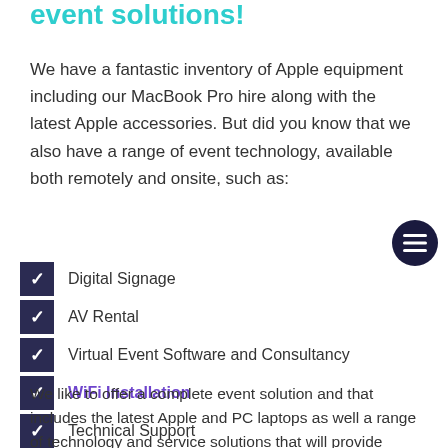event solutions!
We have a fantastic inventory of Apple equipment including our MacBook Pro hire along with the latest Apple accessories. But did you know that we also have a range of event technology, available both remotely and onsite, such as:
Digital Signage
AV Rental
Virtual Event Software and Consultancy
WiFi Installation
Technical Support
We like to offer a complete event solution and that includes the latest Apple and PC laptops as well a range of technology and service solutions that will provide business and event success. Beyond MacBook Pro hire, ask about our Virtual Reality headsets,